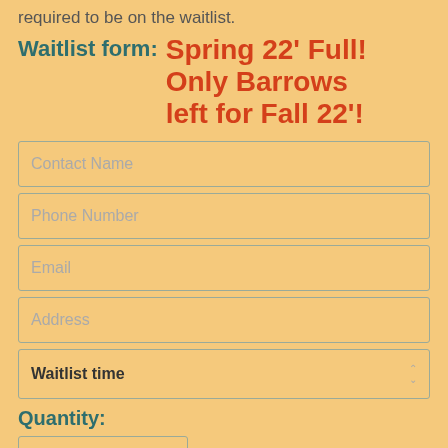required to be on the waitlist.
Waitlist form:  Spring 22' Full! Only Barrows left for Fall 22'!
Contact Name
Phone Number
Email
Address
Waitlist time
Quantity:
# of Gilts